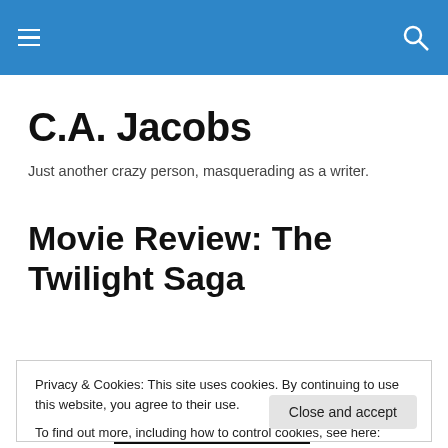C.A. Jacobs — navigation bar
C.A. Jacobs
Just another crazy person, masquerading as a writer.
Movie Review: The Twilight Saga
[Figure (photo): Movie poster or scene from The Twilight Saga — dark image showing a face and the word 'twilight']
Privacy & Cookies: This site uses cookies. By continuing to use this website, you agree to their use.
To find out more, including how to control cookies, see here: Cookie Policy
Close and accept